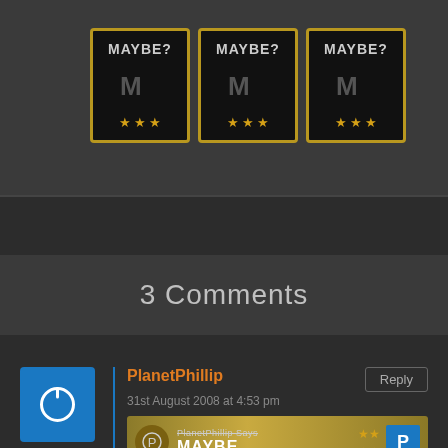[Figure (screenshot): Three 'MAYBE?' rating badges with gold borders, black background, and star ratings]
3 Comments
[Figure (screenshot): PlanetPhillip avatar – blue square with white power button icon]
PlanetPhillip
31st August 2008 at 4:53 pm
[Figure (infographic): PlanetPhillip Says MAYBE banner with star rating and P logo]
This is an arena map – No story, light architecture, in fact this one doesn't